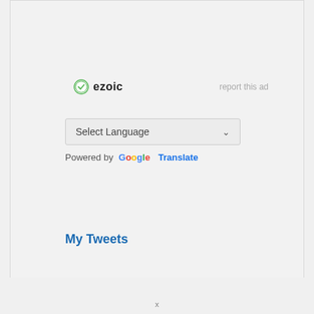[Figure (logo): Ezoic logo with green circular icon and bold text 'ezoic']
report this ad
[Figure (screenshot): Google Translate widget with 'Select Language' dropdown and chevron arrow]
Powered by Google Translate
My Tweets
x